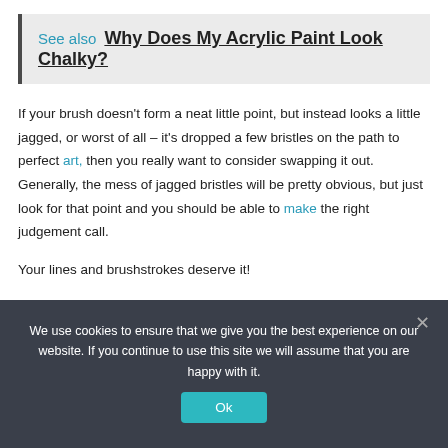See also  Why Does My Acrylic Paint Look Chalky?
If your brush doesn't form a neat little point, but instead looks a little jagged, or worst of all – it's dropped a few bristles on the path to perfect art, then you really want to consider swapping it out. Generally, the mess of jagged bristles will be pretty obvious, but just look for that point and you should be able to make the right judgement call.
Your lines and brushstrokes deserve it!
We use cookies to ensure that we give you the best experience on our website. If you continue to use this site we will assume that you are happy with it.